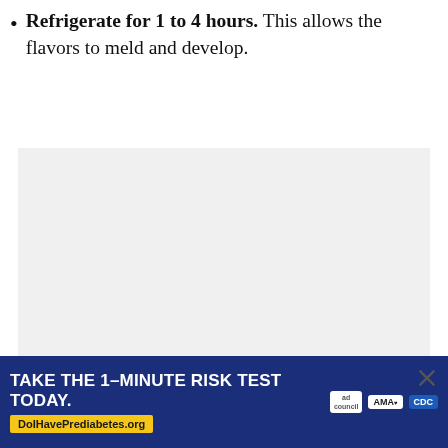Refrigerate for 1 to 4 hours. This allows the flavors to meld and develop.
[Figure (photo): A light gray rectangular image area (photo of food, content not fully visible)]
[Figure (other): Advertisement banner: TAKE THE 1-MINUTE RISK TEST TODAY. DolHavePrediabetes.org with ad council, AMA, and CDC logos]